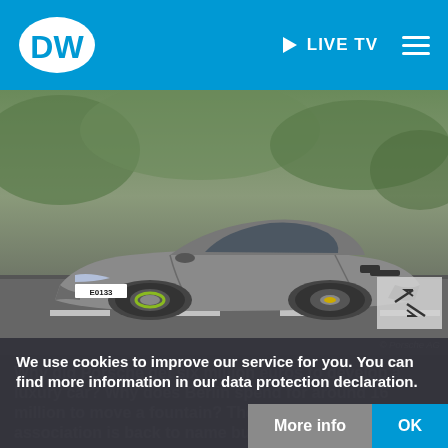DW | LIVE TV
[Figure (photo): Silver Porsche 918 Spyder supercar driving on a road, side profile view. License plate reads E0133. Green brake calipers visible. Blurred background trees and road.]
© Porsche AG
Why did Porsche get six million euros to develop a luxury car? Why does Berlin spend for around 16 million to move a fountain? The German taxpayers' association is back to name budget absurdities.
We use cookies to improve our service for you. You can find more information in our data protection declaration.
More info
OK